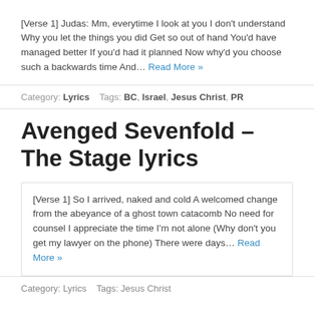[Verse 1] Judas: Mm, everytime I look at you I don't understand Why you let the things you did Get so out of hand You'd have managed better If you'd had it planned Now why'd you choose such a backwards time And... Read More »
Category: Lyrics   Tags: BC, Israel, Jesus Christ, PR
Avenged Sevenfold – The Stage lyrics
[Verse 1] So I arrived, naked and cold A welcomed change from the abeyance of a ghost town catacomb No need for counsel I appreciate the time I'm not alone (Why don't you get my lawyer on the phone) There were days... Read More »
Category: Lyrics   Tags: Jesus Christ